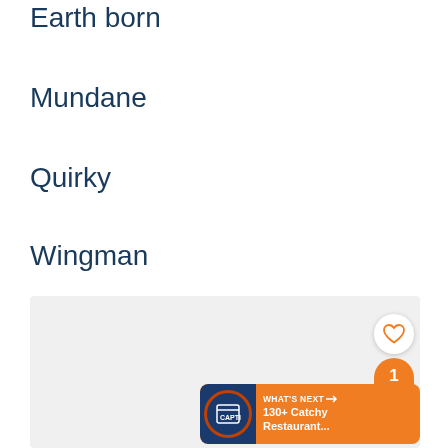Earth born
Mundane
Quirky
Wingman
[Figure (screenshot): Gray content area with social sharing UI elements: a heart/like button, a share count badge showing '1', a share icon button in orange, and a 'What's Next' banner showing '130+ Catchy Restaurant...' with a dark blue circular icon.]